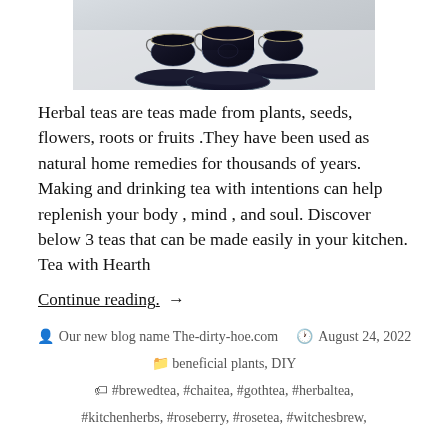[Figure (photo): Photo of dark/black teacups with saucers on a white surface, viewed from above/side angle]
Herbal teas are teas made from plants, seeds, flowers, roots or fruits .They have been used as natural home remedies for thousands of years. Making and drinking tea with intentions can help replenish your body , mind , and soul. Discover below 3 teas that can be made easily in your kitchen. Tea with Hearth
Continue reading. →
Our new blog name The-dirty-hoe.com   August 24, 2022   beneficial plants, DIY   #brewedtea, #chaitea, #gothtea, #herbaltea, #kitchenherbs, #roseberry, #rosetea, #witchesbrew,